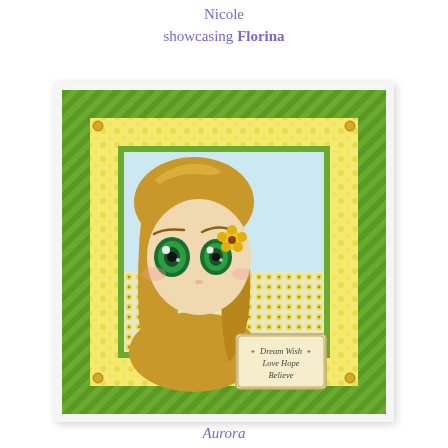Nicole showcasing Florina
[Figure (photo): A handmade greeting card featuring an anime-style girl with big green eyes and blonde hair with a yellow flower, surrounded by yellow flowers, on green and yellow patterned paper with a 'Dream Wish Love Hope Believe' sentiment tag. The card has diagonal stripe green borders and small gold brads at the corners.]
Aurora